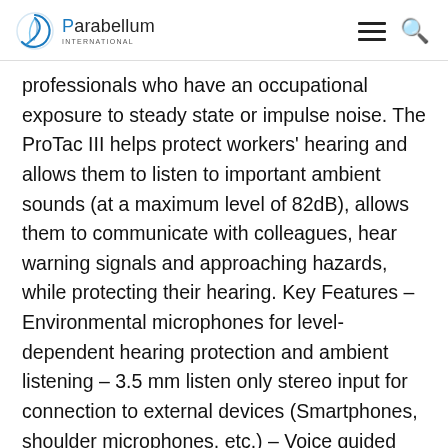Parabellum International
professionals who have an occupational exposure to steady state or impulse noise. The ProTac III helps protect workers' hearing and allows them to listen to important ambient sounds (at a maximum level of 82dB), allows them to communicate with colleagues, hear warning signals and approaching hazards, while protecting their hearing. Key Features – Environmental microphones for level-dependent hearing protection and ambient listening – 3.5 mm listen only stereo input for connection to external devices (Smartphones, shoulder microphones, etc.) – Voice guided menu system – Auto power off: The headset will turn off after 4 hrs of non-use to save battery – Low-battery warning. – To reduce the